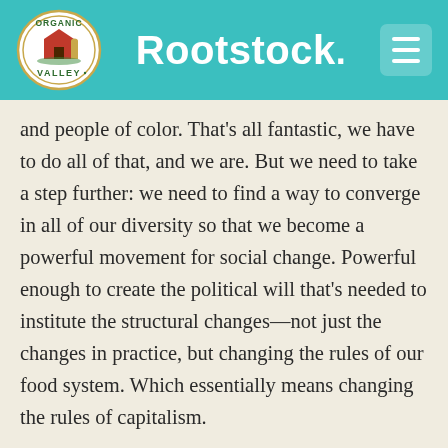[Figure (logo): Organic Valley logo — oval shape with 'Organic Valley' text and a red barn illustration]
Rootstock.
[Figure (other): Hamburger menu icon (three horizontal white lines on teal rounded square)]
and people of color. That's all fantastic, we have to do all of that, and we are. But we need to take a step further: we need to find a way to converge in all of our diversity so that we become a powerful movement for social change. Powerful enough to create the political will that's needed to institute the structural changes—not just the changes in practice, but changing the rules of our food system. Which essentially means changing the rules of capitalism.
AOC: For everything.